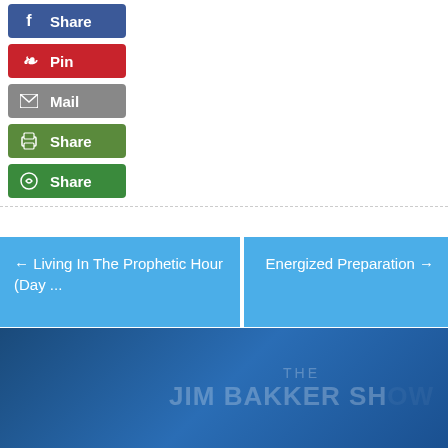[Figure (screenshot): Social share buttons: Facebook Share (blue), Pinterest Pin (red), Mail (gray), Print Share (green), Share (green)]
← Living In The Prophetic Hour (Day ...
Energized Preparation →
2018
Jan Feb Mar Apr May Jun Jul Aug Sep Oct Nov Dec
[Figure (logo): THE JIM BAKKER SHOW logo watermark in footer banner]